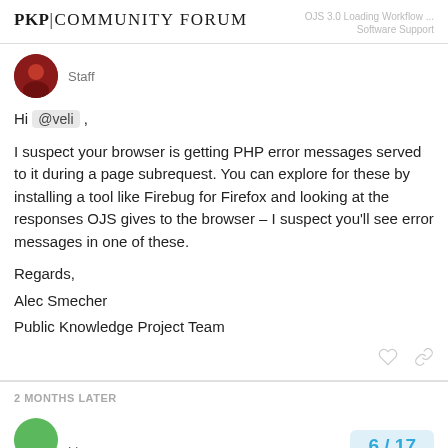PKP COMMUNITY FORUM | OJS 3.0 Loading Workflow ... Software Support
Staff
Hi @veli ,

I suspect your browser is getting PHP error messages served to it during a page subrequest. You can explore for these by installing a tool like Firebug for Firefox and looking at the responses OJS gives to the browser – I suspect you'll see error messages in one of these.

Regards,
Alec Smecher
Public Knowledge Project Team
2 MONTHS LATER
Liang
6 / 17